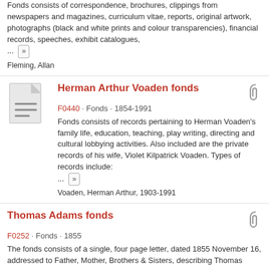Fonds consists of correspondence, brochures, clippings from newspapers and magazines, curriculum vitae, reports, original artwork, photographs (black and white prints and colour transparencies), financial records, speeches, exhibit catalogues, ...
Fleming, Allan
Herman Arthur Voaden fonds
F0440 · Fonds · 1854-1991
Fonds consists of records pertaining to Herman Voaden's family life, education, teaching, play writing, directing and cultural lobbying activities. Also included are the private records of his wife, Violet Kilpatrick Voaden. Types of records include: ...
Voaden, Herman Arthur, 1903-1991
Thomas Adams fonds
F0252 · Fonds · 1855
The fonds consists of a single, four page letter, dated 1855 November 16, addressed to Father, Mother, Brothers & Sisters, describing Thomas Adams' trip from Straffordville to Toronto in November, 1855.